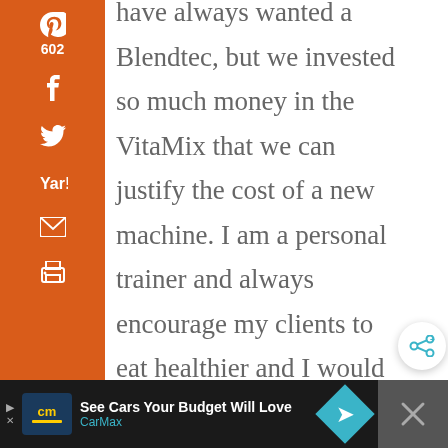[Figure (screenshot): Orange social sharing sidebar with Pinterest (602), Facebook, Twitter, Yahoo, Email, and Print icons]
have always wanted a Blendtec, but we invested so much money in the VitaMix that we can justify the cost of a new machine. I am a personal trainer and always encourage my clients to eat healthier and I would love to have the Blendtec to
[Figure (screenshot): Circular share button with share/plus icon on right side]
602 SHARES
[Figure (screenshot): CarMax advertisement banner at bottom: 'See Cars Your Budget Will Love' with CarMax logo and navigation arrow icon, dark background with close X button]